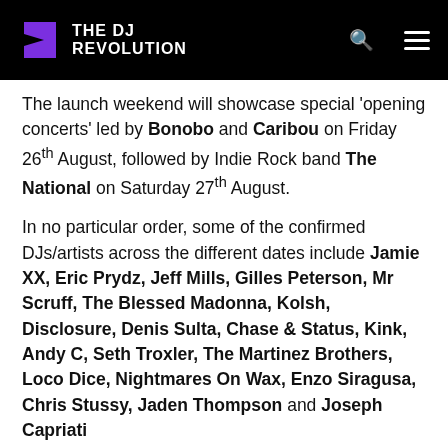THE DJ REVOLUTION
The launch weekend will showcase special 'opening concerts' led by Bonobo and Caribou on Friday 26th August, followed by Indie Rock band The National on Saturday 27th August.
In no particular order, some of the confirmed DJs/artists across the different dates include Jamie XX, Eric Prydz, Jeff Mills, Gilles Peterson, Mr Scruff, The Blessed Madonna, Kolsh, Disclosure, Denis Sulta, Chase & Status, Kink, Andy C, Seth Troxler, The Martinez Brothers, Loco Dice, Nightmares On Wax, Enzo Siragusa, Chris Stussy, Jaden Thompson and Joseph Capriati